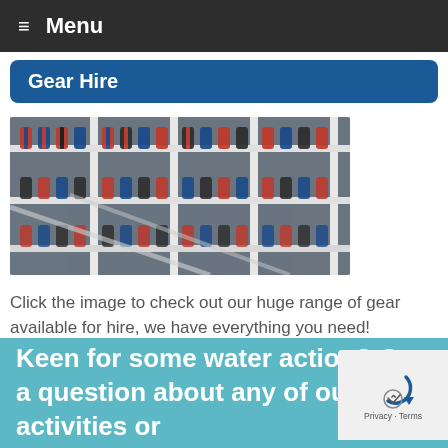≡ Menu
Gear Hire
[Figure (photo): Photo of climbing/outdoor gear harnesses hanging on white metal racks in a gear hire shop, showing rows of colorful red, blue, and black equipment.]
Click the image to check out our huge range of gear available for hire, we have everything you need!
Keen for some water action? Got a question about any of our activities or